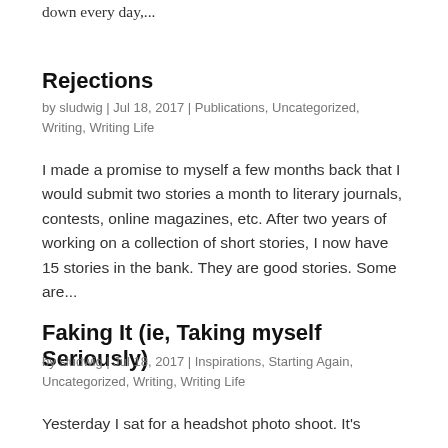down every day,...
Rejections
by sludwig | Jul 18, 2017 | Publications, Uncategorized, Writing, Writing Life
I made a promise to myself a few months back that I would submit two stories a month to literary journals, contests, online magazines, etc. After two years of working on a collection of short stories, I now have 15 stories in the bank. They are good stories. Some are...
Faking It (ie, Taking myself Seriously)
by sludwig | Jul 18, 2017 | Inspirations, Starting Again, Uncategorized, Writing, Writing Life
Yesterday I sat for a headshot photo shoot. It's